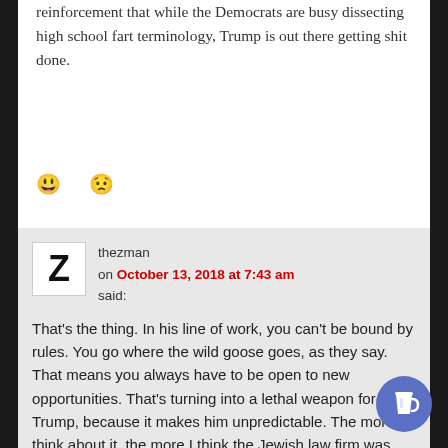reinforcement that while the Democrats are busy dissecting high school fart terminology, Trump is out there getting shit done.
[Figure (infographic): Two emoji reaction icons: a smiley face and a frowning face, in red/orange color]
thezman
on October 13, 2018 at 7:43 am
said:

That's the thing. In his line of work, you can't be bound by rules. You go where the wild goose goes, as they say. That means you always have to be open to new opportunities. That's turning into a lethal weapon for Trump, because it makes him unpredictable. The more I think about it, the more I think the Jewish law firm was betting he would go wild on twitter. In fact, I suspect the Republicans thought so too.
[Figure (illustration): Blue circular Buy Me a Coffee button with a coffee cup icon, positioned in bottom right corner]